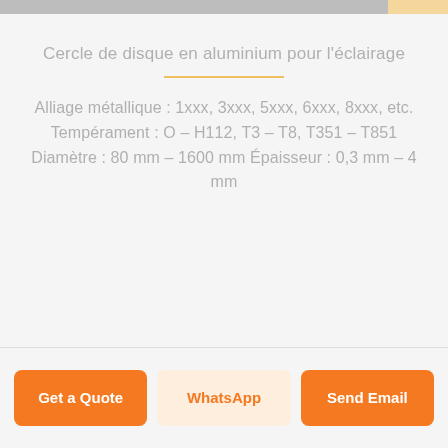Cercle de disque en aluminium pour l'éclairage
Alliage métallique : 1xxx, 3xxx, 5xxx, 6xxx, 8xxx, etc. Tempérament : O – H112, T3 – T8, T351 – T851 Diamètre : 80 mm – 1600 mm Épaisseur : 0,3 mm – 4 mm
Get a Quote
WhatsApp
Send Email